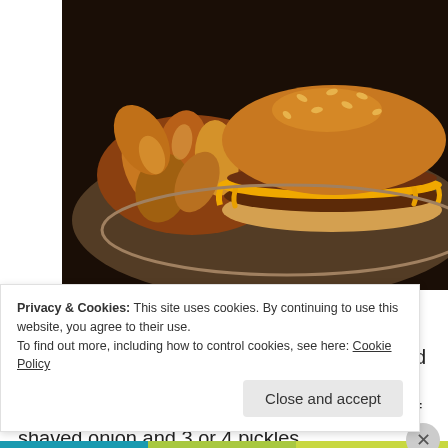[Figure (photo): A cheeseburger with melted orange cheese on a sesame bun, served with roasted potato wedges on a ceramic plate, photographed at the restaurant Husk.]
Cheeseburger, Husk
A pair of chuck, bacon and brisket patties held together by a slice of melted American cheese, a swipe of secret sauce, a sprinkle of shaved onion and 3 or 4 pickles
Privacy & Cookies: This site uses cookies. By continuing to use this website, you agree to their use.
To find out more, including how to control cookies, see here: Cookie Policy
Close and accept